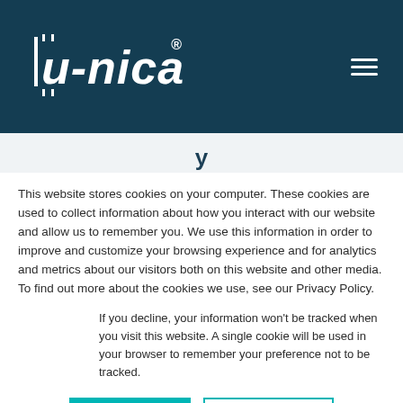[Figure (logo): u-nica logo in white text on dark teal header background, with hamburger menu icon on the right]
mind, we have developed unique capabilities to introduce sustainable brand value and product protection solutions, with the ability to start small,
This website stores cookies on your computer. These cookies are used to collect information about how you interact with our website and allow us to remember you. We use this information in order to improve and customize your browsing experience and for analytics and metrics about our visitors both on this website and other media. To find out more about the cookies we use, see our Privacy Policy.
If you decline, your information won't be tracked when you visit this website. A single cookie will be used in your browser to remember your preference not to be tracked.